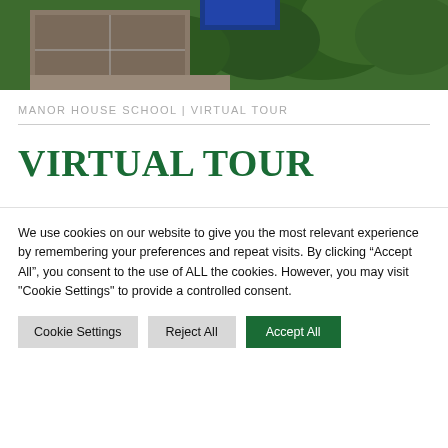[Figure (photo): Aerial view of Manor House School grounds showing sports courts and trees]
MANOR HOUSE SCHOOL | VIRTUAL TOUR
VIRTUAL TOUR
We use cookies on our website to give you the most relevant experience by remembering your preferences and repeat visits. By clicking “Accept All”, you consent to the use of ALL the cookies. However, you may visit "Cookie Settings" to provide a controlled consent.